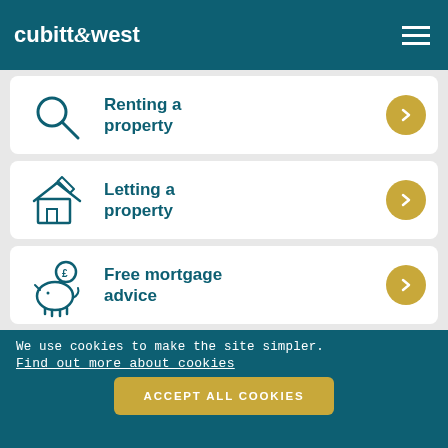cubitt & west
Renting a property
Letting a property
Free mortgage advice
We use cookies to make the site simpler. Find out more about cookies
ACCEPT ALL COOKIES